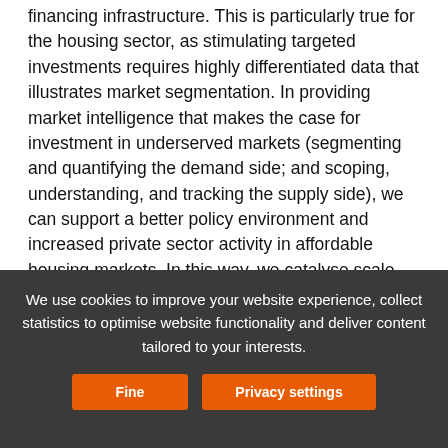financing infrastructure. This is particularly true for the housing sector, as stimulating targeted investments requires highly differentiated data that illustrates market segmentation. In providing market intelligence that makes the case for investment in underserved markets (segmenting and quantifying the demand side; and scoping, understanding, and tracking the supply side), we can support a better policy environment and increased private sector activity in affordable housing markets. In this way, we catalyse scale interventions.

This report includes insights and analysis into the depth and breadth of investment in Guinea's housing and housing
We use cookies to improve your website experience, collect statistics to optimise website functionality and deliver content tailored to your interests.